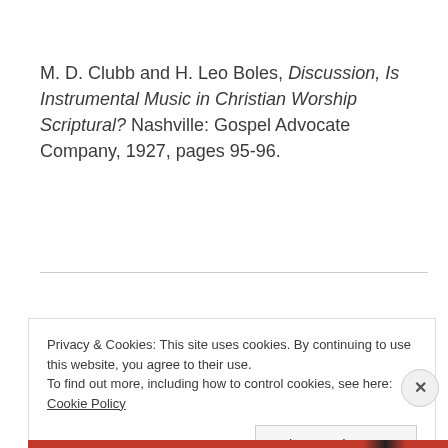M. D. Clubb and H. Leo Boles, Discussion, Is Instrumental Music in Christian Worship Scriptural? Nashville: Gospel Advocate Company, 1927, pages 95-96.
Privacy & Cookies: This site uses cookies. By continuing to use this website, you agree to their use. To find out more, including how to control cookies, see here: Cookie Policy
Close and accept